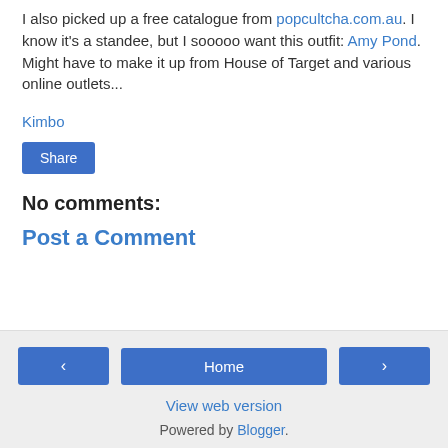I also picked up a free catalogue from popcultcha.com.au. I know it's a standee, but I sooooo want this outfit: Amy Pond. Might have to make it up from House of Target and various online outlets...
Kimbo
Share
No comments:
Post a Comment
‹  Home  ›  View web version  Powered by Blogger.